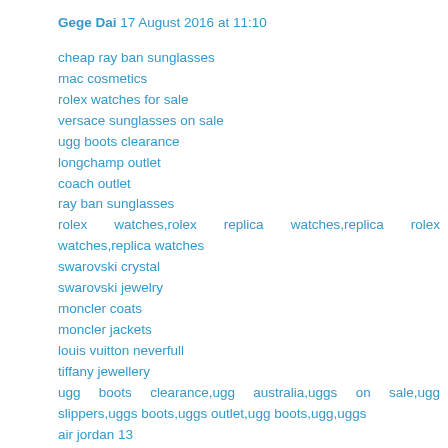Gege Dai  17 August 2016 at 11:10
cheap ray ban sunglasses
mac cosmetics
rolex watches for sale
versace sunglasses on sale
ugg boots clearance
longchamp outlet
coach outlet
ray ban sunglasses
rolex watches,rolex replica watches,replica rolex watches,replica watches
swarovski crystal
swarovski jewelry
moncler coats
moncler jackets
louis vuitton neverfull
tiffany jewellery
ugg boots clearance,ugg australia,uggs on sale,ugg slippers,uggs boots,uggs outlet,ugg boots,ugg,uggs
air jordan 13
lacoste shirts